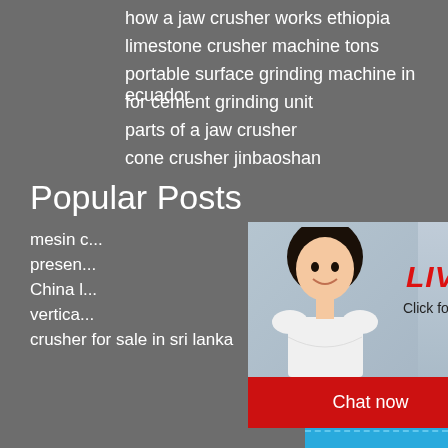how a jaw crusher works ethiopia
limestone crusher machine tons
portable surface grinding machine in ecuador
for cement grinding unit
parts of a jaw crusher
cone crusher jinbaoshan
Popular Posts
mesin c...
presen...
China l...
vertica...
crusher for sale in sri lanka
[Figure (screenshot): Live chat popup overlay showing workers in hard hats background, a smiling woman in white shirt, 'LIVE CHAT' in red italic text, 'Click for a Free Consultation' subtitle, 'Chat now' red button and 'Chat later' dark button]
[Figure (screenshot): Right sidebar with blue background showing 'hour online', cone crusher machine image, 'Click me to chat>>' button, 'Enquiry' bold text, and 'limingjlmofen' brand name]